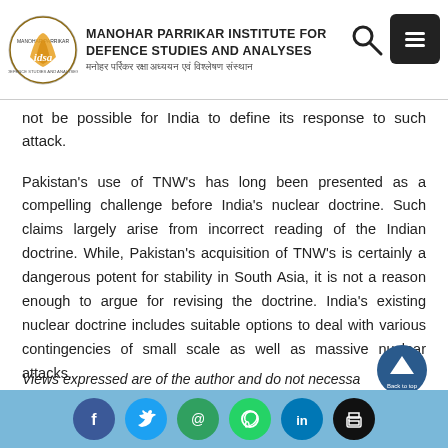MANOHAR PARRIKAR INSTITUTE FOR DEFENCE STUDIES AND ANALYSES | मनोहर पर्रिकर रक्षा अध्ययन एवं विश्लेषण संस्थान
not be possible for India to define its response to such attack.
Pakistan's use of TNW's has long been presented as a compelling challenge before India's nuclear doctrine. Such claims largely arise from incorrect reading of the Indian doctrine. While, Pakistan's acquisition of TNW's is certainly a dangerous potent for stability in South Asia, it is not a reason enough to argue for revising the doctrine. India's existing nuclear doctrine includes suitable options to deal with various contingencies of small scale as well as massive nuclear attacks.
Views expressed are of the author and do not necessa...
Social media share buttons: Facebook, Twitter, Email, WhatsApp, LinkedIn, Print